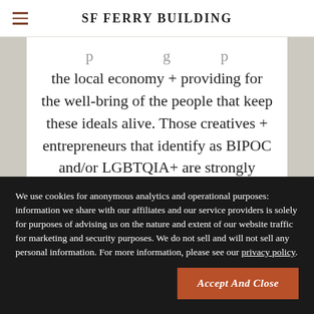SF FERRY BUILDING
the local economy + providing for the well-bring of the people that keep these ideals alive. Those creatives + entrepreneurs that identify as BIPOC and/or LGBTQIA+ are strongly encouraged to apply.
Health & Safety Measures have been
We use cookies for anonymous analytics and operational purposes: information we share with our affiliates and our service providers is solely for purposes of advising us on the nature and extent of our website traffic for marketing and security purposes. We do not sell and will not sell any personal information. For more information, please see our privacy policy.
Accept And Close